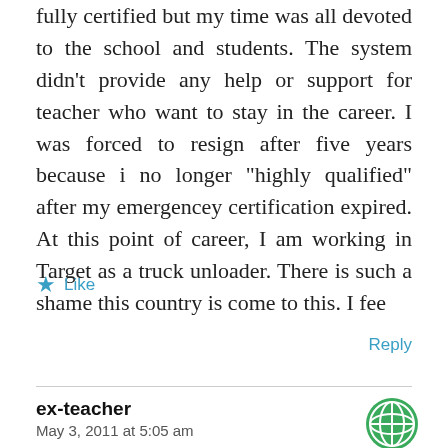fully certified but my time was all devoted to the school and students. The system didn't provide any help or support for teacher who want to stay in the career. I was forced to resign after five years because i no longer “highly qualified” after my emergencey certification expired. At this point of career, I am working in Target as a truck unloader. There is such a shame this country is come to this. I fee
★ Like
Reply
ex-teacher
May 3, 2011 at 5:05 am